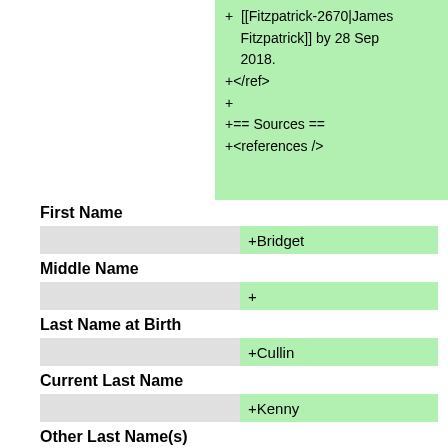[[Fitzpatrick-2670|James Fitzpatrick]] by 28 Sep 2018.
+</ref>
+
+== Sources ==
+<references />
First Name
+Bridget
Middle Name
+
Last Name at Birth
+Cullin
Current Last Name
+Kenny
Other Last Name(s)
+
Preferred Name
+Bridget